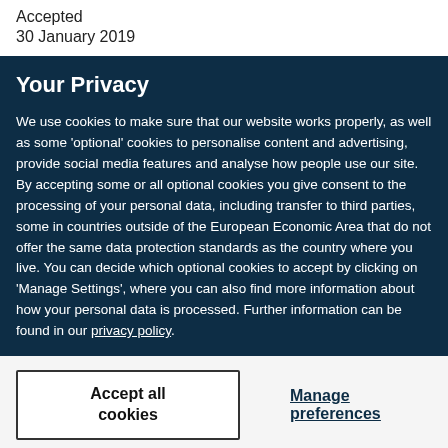Accepted
30 January 2019
Your Privacy
We use cookies to make sure that our website works properly, as well as some 'optional' cookies to personalise content and advertising, provide social media features and analyse how people use our site. By accepting some or all optional cookies you give consent to the processing of your personal data, including transfer to third parties, some in countries outside of the European Economic Area that do not offer the same data protection standards as the country where you live. You can decide which optional cookies to accept by clicking on 'Manage Settings', where you can also find more information about how your personal data is processed. Further information can be found in our privacy policy.
Accept all cookies
Manage preferences